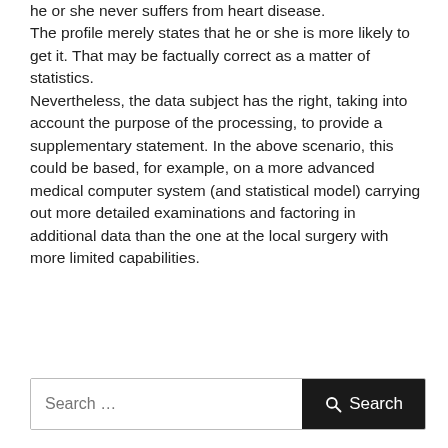he or she never suffers from heart disease. The profile merely states that he or she is more likely to get it. That may be factually correct as a matter of statistics. Nevertheless, the data subject has the right, taking into account the purpose of the processing, to provide a supplementary statement. In the above scenario, this could be based, for example, on a more advanced medical computer system (and statistical model) carrying out more detailed examinations and factoring in additional data than the one at the local surgery with more limited capabilities.